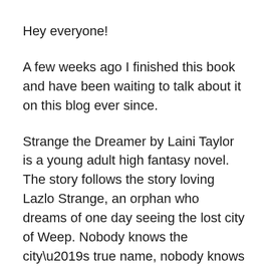Hey everyone!
A few weeks ago I finished this book and have been waiting to talk about it on this blog ever since.
Strange the Dreamer by Laini Taylor is a young adult high fantasy novel. The story follows the story loving Lazlo Strange, an orphan who dreams of one day seeing the lost city of Weep. Nobody knows the city’s true name, nobody knows where its magic comes from and where its magic has gone but Lazlo still dreams. Even though he is surrounded by